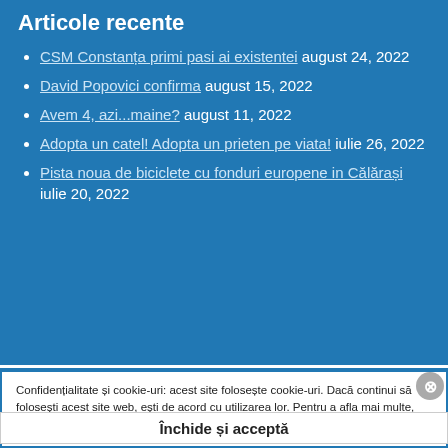Articole recente
CSM Constanța primi pasi ai existentei august 24, 2022
David Popovici confirma august 15, 2022
Avem 4, azi...maine? august 11, 2022
Adopta un catel! Adopta un prieten pe viata! iulie 26, 2022
Pista noua de biciclete cu fonduri europene in Călărași iulie 20, 2022
Confidențialitate și cookie-uri: acest site folosește cookie-uri. Dacă continui să folosești acest site web, ești de acord cu utilizarea lor. Pentru a afla mai multe, inclusiv cum să controlezi cookie-urile, uită-te aici: Politică cookie-uri
Închide și acceptă